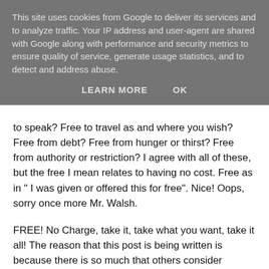This site uses cookies from Google to deliver its services and to analyze traffic. Your IP address and user-agent are shared with Google along with performance and security metrics to ensure quality of service, generate usage statistics, and to detect and address abuse.
LEARN MORE   OK
to speak? Free to travel as and where you wish? Free from debt? Free from hunger or thirst? Free from authority or restriction? I agree with all of these, but the free I mean relates to having no cost. Free as in " I was given or offered this for free". Nice! Oops, sorry once more Mr. Walsh.
FREE! No Charge, take it, take what you want, take it all! The reason that this post is being written is because there is so much that others consider useless and give away free, because they might not have thought about another use for the item, can't be bothered to attend to it or they are just plain useless. Well, my faithful reader, only a few days ago I was at a farm shop when what should catch my eye? A trolley with some very sorry looking plants on and a notice